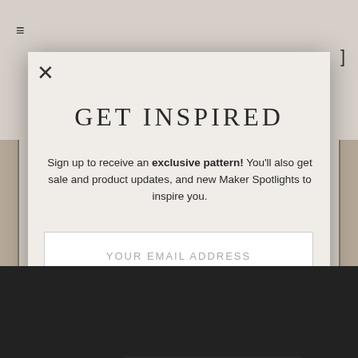GET INSPIRED
Sign up to receive an exclusive pattern! You'll also get sale and product updates, and new Maker Spotlights to inspire you.
YOUR EMAIL ADDRESS
YOUR ZIP CODE
No thanks
We use cookies to personalise content and ads, to provide social media features and to analyse our traffic. We also share information about your use of our site with our social media, advertising and analytics partners.
✓ Accept Cookies
Privacy